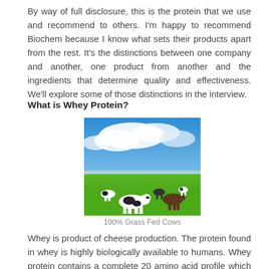By way of full disclosure, this is the protein that we use and recommend to others. I'm happy to recommend Biochem because I know what sets their products apart from the rest. It's the distinctions between one company and another, one product from another and the ingredients that determine quality and effectiveness. We'll explore some of those distinctions in the interview.
What is Whey Protein?
[Figure (photo): A photo of cows grazing on a green field under a blue sky with clouds — 100% Grass Fed Cows.]
100% Grass Fed Cows
Whey is product of cheese production. The protein found in whey is highly biologically available to humans. Whey protein contains a complete 20 amino acid profile which provides the building blocks for the body.* Whey protein contains essential, non-essential and branched chain amino acids. Whey can be found in two forms: